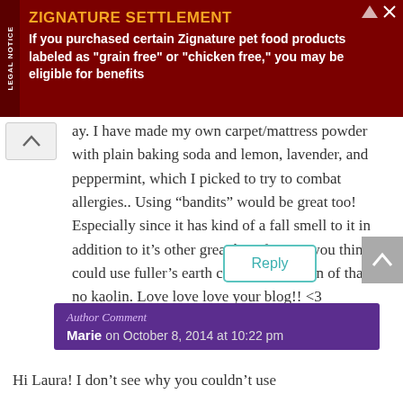[Figure (infographic): Advertisement banner for Zignature Settlement with dark red background. LEGAL NOTICE tab on left side. Title reads ZIGNATURE SETTLEMENT in orange/gold. Body text: If you purchased certain Zignature pet food products labeled as "grain free" or "chicken free," you may be eligible for benefits]
ay. I have made my own carpet/mattress powder with plain baking soda and lemon, lavender, and peppermint, which I picked to try to combat allergies.. Using “bandits” would be great too! Especially since it has kind of a fall smell to it in addition to it’s other great benefits. Do you think I could use fuller’s earth clay? I have a ton of that but no kaolin. Love love love your blog!! <3
Reply
Author Comment
Marie on October 8, 2014 at 10:22 pm
Hi Laura! I don’t see why you couldn’t use